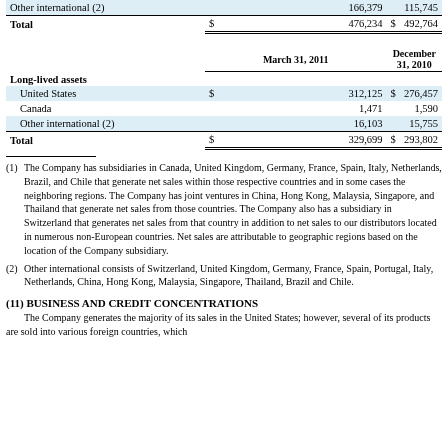|  | March 31, 2011 | December 31, 2010 |
| --- | --- | --- |
| Other international (2) | 166,379 | 115,745 |
| Total | $ 476,234 | $ 492,764 |
| Long-lived assets |  |  |
| United States | $ 312,125 | $ 276,457 |
| Canada | 1,471 | 1,590 |
| Other international (2) | 16,103 | 15,755 |
| Total | $ 329,699 | $ 293,802 |
(1) The Company has subsidiaries in Canada, United Kingdom, Germany, France, Spain, Italy, Netherlands, Brazil, and Chile that generate net sales within those respective countries and in some cases the neighboring regions. The Company has joint ventures in China, Hong Kong, Malaysia, Singapore, and Thailand that generate net sales from those countries. The Company also has a subsidiary in Switzerland that generates net sales from that country in addition to net sales to our distributors located in numerous non-European countries. Net sales are attributable to geographic regions based on the location of the Company subsidiary.
(2) Other international consists of Switzerland, United Kingdom, Germany, France, Spain, Portugal, Italy, Netherlands, China, Hong Kong, Malaysia, Singapore, Thailand, Brazil and Chile.
(11) BUSINESS AND CREDIT CONCENTRATIONS
The Company generates the majority of its sales in the United States; however, several of its products are sold into various foreign countries, which